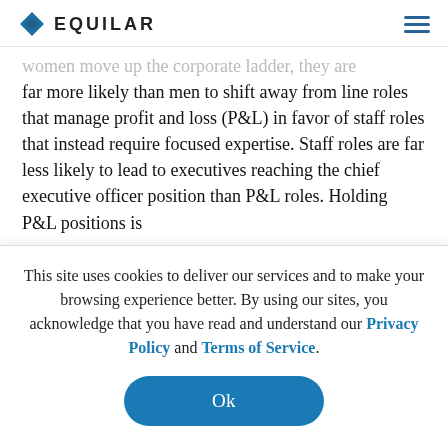EQUILAR
women move up the corporate ladder, they are far more likely than men to shift away from line roles that manage profit and loss (P&L) in favor of staff roles that instead require focused expertise. Staff roles are far less likely to lead to executives reaching the chief executive officer position than P&L roles. Holding P&L positions is
This site uses cookies to deliver our services and to make your browsing experience better. By using our sites, you acknowledge that you have read and understand our Privacy Policy and Terms of Service.
Ok